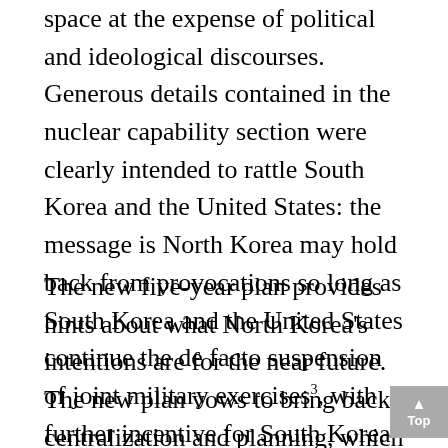space at the expense of political and ideological discourses. Generous details contained in the nuclear capability section were clearly intended to rattle South Korea and the United States: the message is North Korea may hold back from provocations so long as South Korea and the United States continue the de facto suspension of joint military exercises³, with further incentive for South Korea in the form of resumption of inter-Korean dialogue down the road if it complies.
The new five-year plan provides hints about what North Korea's intentions are for the near future. The new plan vows to bring back centralization and planning, which are clear signs that the regime is rolling back the pseudo-marketization that had achieved macroeconomic stability and economic growth in the last ten years. The return to central